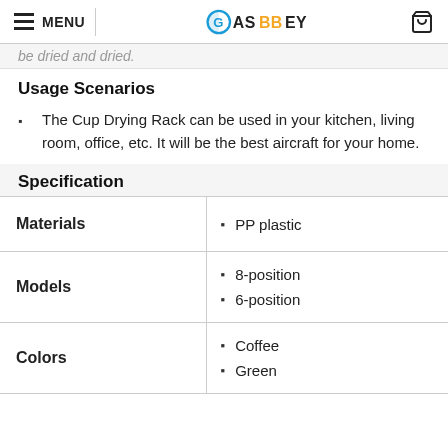MENU | GASBBEY
be dried and dried.
Usage Scenarios
The Cup Drying Rack can be used in your kitchen, living room, office, etc. It will be the best aircraft for your home.
Specification
|  |  |
| --- | --- |
| Materials | PP plastic |
| Models | 8-position
6-position |
| Colors | Coffee
Green |